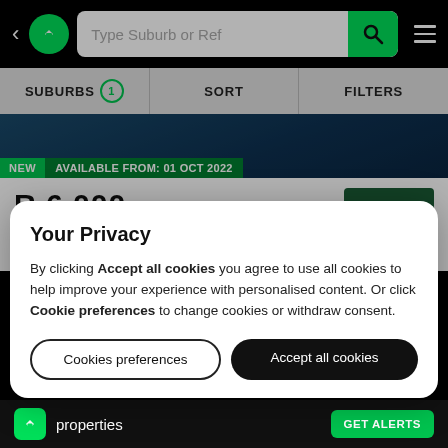[Figure (screenshot): Mobile app navigation bar with back arrow, green circular logo, search bar with placeholder 'Type Suburb or Ref', green search button, and hamburger menu icon on black background]
[Figure (screenshot): Filter bar with three sections: SUBURBS (with circled 1 badge), SORT, FILTERS on grey background]
[Figure (screenshot): Property listing showing badge row with NEW and AVAILABLE FROM: 01 OCT 2022 on dark image]
R 6 000
Apartment
Amanzimtoti
Your Privacy
By clicking Accept all cookies you agree to use all cookies to help improve your experience with personalised content. Or click Cookie preferences to change cookies or withdraw consent.
Cookies preferences
Accept all cookies
properties   GET ALERTS